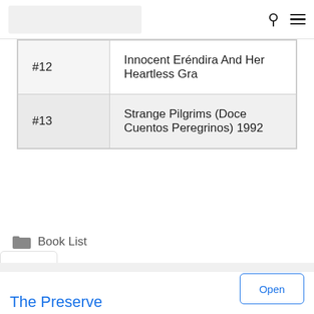[Logo] [Search] [Menu]
| # | Title |
| --- | --- |
| #12 | Innocent Eréndira And Her Heartless Gra |
| #13 | Strange Pilgrims (Doce Cuentos Peregrinos) 1992 |
Book List
[Figure (screenshot): Advertisement banner for The Preserve. Text: The Preserve. Luxury Rhode Island Getaways & Outdoor Adventures | The Preserve Preserve Sporting Club. Open button.]